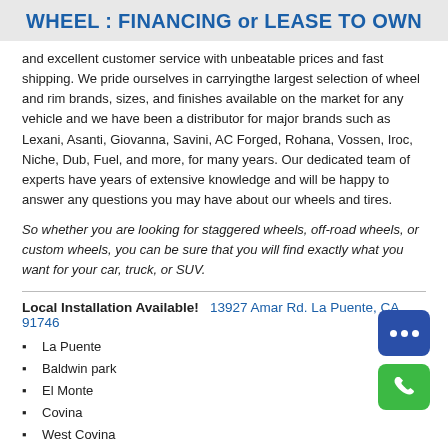WHEEL : FINANCING or LEASE TO OWN
and excellent customer service with unbeatable prices and fast shipping. We pride ourselves in carryingthe largest selection of wheel and rim brands, sizes, and finishes available on the market for any vehicle and we have been a distributor for major brands such as Lexani, Asanti, Giovanna, Savini, AC Forged, Rohana, Vossen, Iroc, Niche, Dub, Fuel, and more, for many years. Our dedicated team of experts have years of extensive knowledge and will be happy to answer any questions you may have about our wheels and tires.
So whether you are looking for staggered wheels, off-road wheels, or custom wheels, you can be sure that you will find exactly what you want for your car, truck, or SUV.
Local Installation Available!   13927 Amar Rd. La Puente, CA 91746
La Puente
Baldwin park
El Monte
Covina
West Covina